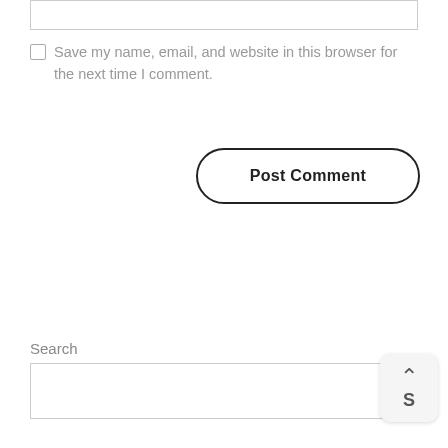[Figure (screenshot): Top portion of a web form input box (text area, partially visible at top of page)]
Save my name, email, and website in this browser for the next time I comment.
[Figure (screenshot): Post Comment button with rounded pill border]
Search
[Figure (screenshot): Search input text box]
[Figure (screenshot): Scroll-to-top button showing upward caret arrow and letter S]